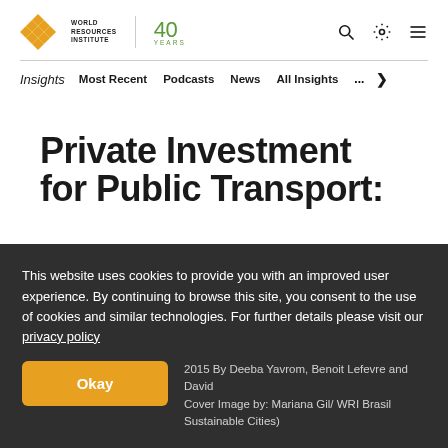[Figure (logo): World Resources Institute logo with diamond grid icon, vertical divider, and '40 YEARS' text in green]
Insights | Most Recent | Podcasts | News | All Insights | ... >
Private Investment for Public Transport:
This website uses cookies to provide you with an improved user experience. By continuing to browse this site, you consent to the use of cookies and similar technologies. For further details please visit our privacy policy
2015 By Deeba Yavrom, Benoit Lefevre and David Cover Image by: Mariana Gil/ WRI Brasil Sustainable Cities)